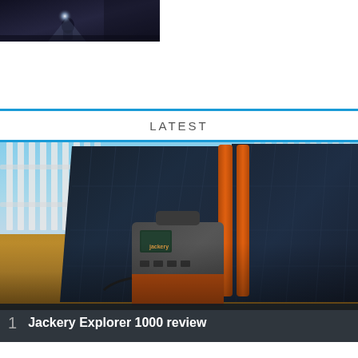[Figure (photo): Dark indoor photo showing a person with a light or torch in a dim tent/room setting]
LATEST
[Figure (photo): Jackery Explorer 1000 portable power station with two large solar panels leaning against a white fence in an outdoor setting]
1  Jackery Explorer 1000 review